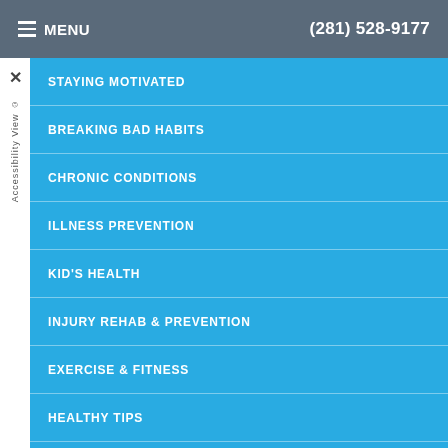MENU  (281) 528-9177
STAYING MOTIVATED
BREAKING BAD HABITS
CHRONIC CONDITIONS
ILLNESS PREVENTION
KID'S HEALTH
INJURY REHAB & PREVENTION
EXERCISE & FITNESS
HEALTHY TIPS
LIFE-WORK BALANCE